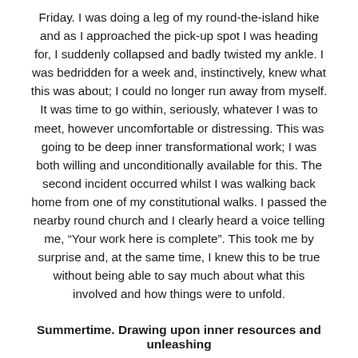Friday. I was doing a leg of my round-the-island hike and as I approached the pick-up spot I was heading for, I suddenly collapsed and badly twisted my ankle. I was bedridden for a week and, instinctively, knew what this was about; I could no longer run away from myself. It was time to go within, seriously, whatever I was to meet, however uncomfortable or distressing. This was going to be deep inner transformational work; I was both willing and unconditionally available for this. The second incident occurred whilst I was walking back home from one of my constitutional walks. I passed the nearby round church and I clearly heard a voice telling me, “Your work here is complete”. This took me by surprise and, at the same time, I knew this to be true without being able to say much about what this involved and how things were to unfold.
Summertime. Drawing upon inner resources and unleashing